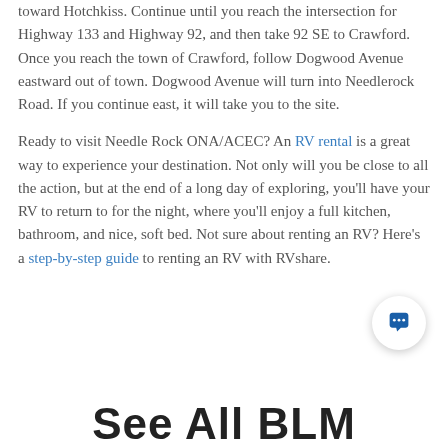toward Hotchkiss. Continue until you reach the intersection for Highway 133 and Highway 92, and then take 92 SE to Crawford. Once you reach the town of Crawford, follow Dogwood Avenue eastward out of town. Dogwood Avenue will turn into Needlerock Road. If you continue east, it will take you to the site.
Ready to visit Needle Rock ONA/ACEC? An RV rental is a great way to experience your destination. Not only will you be close to all the action, but at the end of a long day of exploring, you'll have your RV to return to for the night, where you'll enjoy a full kitchen, bathroom, and nice, soft bed. Not sure about renting an RV? Here's a step-by-step guide to renting an RV with RVshare.
See All BLM